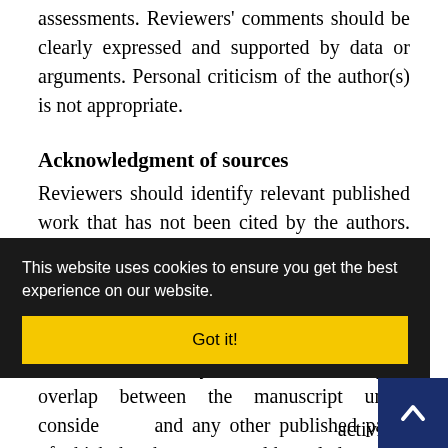assessments. Reviewers' comments should be clearly expressed and supported by data or arguments. Personal criticism of the author(s) is not appropriate.
Acknowledgment of sources
Reviewers should identify relevant published work that has not been cited by the authors. Any statement that an observation, derivation, or argument had been previously reported should be accompanied by the relevant citation. A reviewer should also call to the editor's attention any substantial similarity or overlap between the manuscript under consideration and any other published paper of which they have personal knowledge.
[Figure (screenshot): Cookie consent banner overlay with dark background, text 'This website uses cookies to ensure you get the best experience on our website.' and a yellow 'Got it!' button]
activities